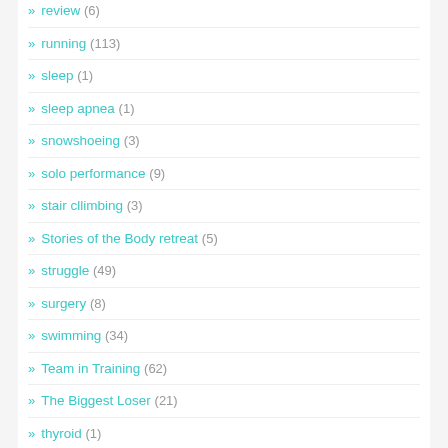» recipes (?)
» review (6)
» running (113)
» sleep (1)
» sleep apnea (1)
» snowshoeing (3)
» solo performance (9)
» stair cllimbing (3)
» Stories of the Body retreat (5)
» struggle (49)
» surgery (8)
» swimming (34)
» Team in Training (62)
» The Biggest Loser (21)
» thyroid (1)
» thyroiditis (1)